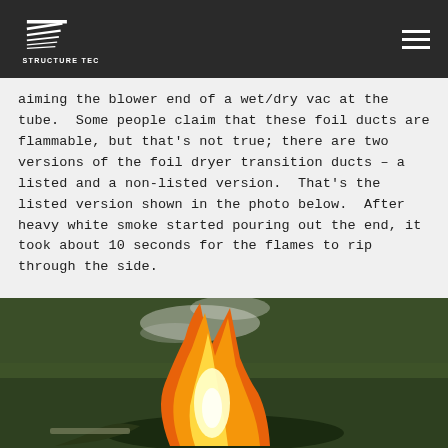Structure Tech
aiming the blower end of a wet/dry vac at the tube.  Some people claim that these foil ducts are flammable, but that's not true; there are two versions of the foil dryer transition ducts – a listed and a non-listed version.  That's the listed version shown in the photo below.  After heavy white smoke started pouring out the end, it took about 10 seconds for the flames to rip through the side.
[Figure (photo): Photograph of a foil dryer duct on fire on grass, with large orange and yellow flames ripping through its side, heavy white light visible at the center of the flames.]